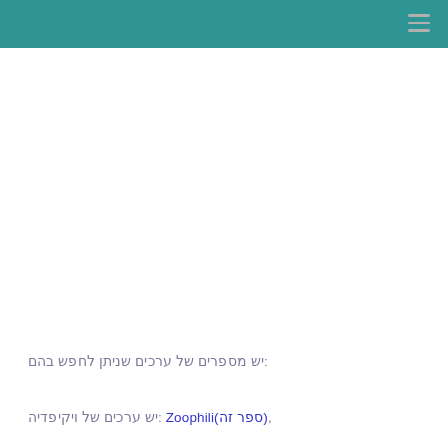יש מספרים של ערכים שניתן לחפש בהם:
יש ערכים של ויקיפדיה: Zoophili(ספר זה),